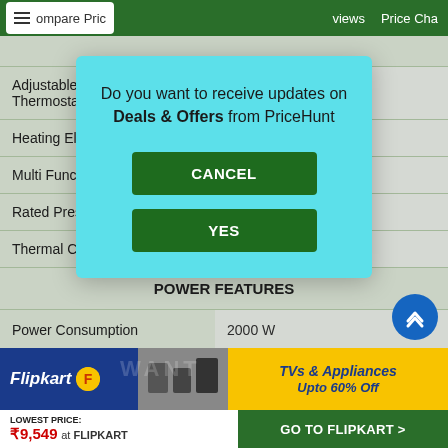Compare Price   views   Price Cha
| Feature | Value |
| --- | --- |
| Adjustable Thermostat |  |
| Heating Element | ng Element |
| Multi Function |  |
| Rated Pressu |  |
| Thermal Cutoff | Yes |
| POWER FEATURES |  |
| Power Consumption | 2000 W |
[Figure (screenshot): Modal dialog asking 'Do you want to receive updates on Deals & Offers from PriceHunt' with CANCEL and YES buttons]
[Figure (screenshot): Flipkart advertisement banner: TVs & Appliances Upto 60% Off]
LOWEST PRICE: ₹9,549 at FLIPKART
GO TO FLIPKART >